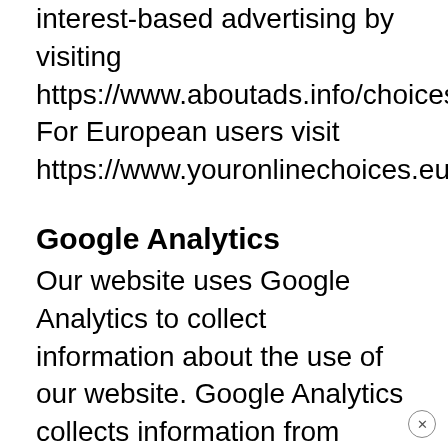interest-based advertising by visiting https://www.aboutads.info/choices/. For European users visit https://www.youronlinechoices.eu
Google Analytics
Our website uses Google Analytics to collect information about the use of our website. Google Analytics collects information from users such as age, gender, interests, demographics, how often they visit our website, what pages they visit, and what other websites they